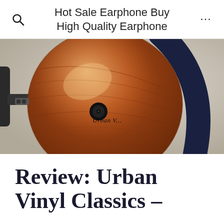Hot Sale Earphone Buy High Quality Earphone
[Figure (photo): Close-up photo of an over-ear headphone with a glossy wood-grain ear cup (mahogany/walnut finish) and dark metal headband. The ear cup has an 'Urban V' logo with a vinyl record graphic printed on it. The headphone is shown against a light gray/white background.]
Review: Urban Vinyl Classics –